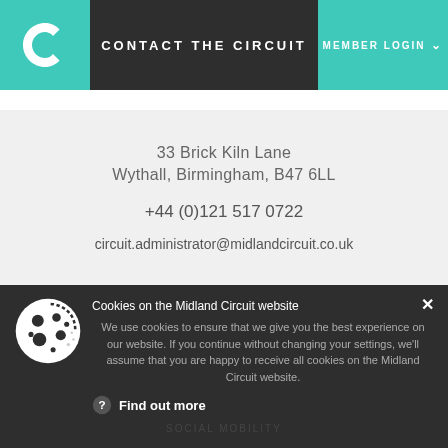CONTACT THE CIRCUIT | MEMBER LOGIN
33 Brick Kiln Lane
Wythall, Birmingham, B47 6LL
+44 (0)121 517 0722
circuit.administrator@midlandcircuit.co.uk
ABOUT US
CIRCUIT OFFICERS
Cookies on the Midland Circuit website
We use cookies to ensure that we give you the best experience on our website. If you continue without changing your settings, we'll assume that you are happy to receive all cookies on the Midland Circuit website.
Find out more
EDUCATION & TRAINING
SOCIAL MOBILITY